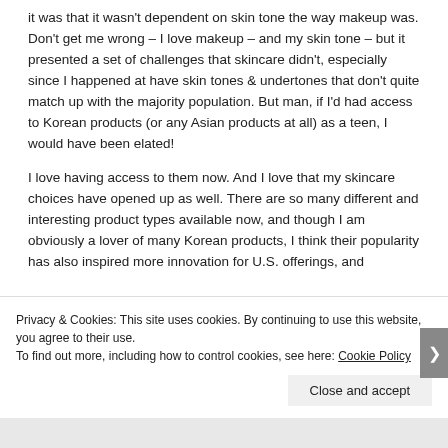it was that it wasn't dependent on skin tone the way makeup was. Don't get me wrong – I love makeup – and my skin tone – but it presented a set of challenges that skincare didn't, especially since I happened at have skin tones & undertones that don't quite match up with the majority population. But man, if I'd had access to Korean products (or any Asian products at all) as a teen, I would have been elated!

I love having access to them now. And I love that my skincare choices have opened up as well. There are so many different and interesting product types available now, and though I am obviously a lover of many Korean products, I think their popularity has also inspired more innovation for U.S. offerings, and
Privacy & Cookies: This site uses cookies. By continuing to use this website, you agree to their use.
To find out more, including how to control cookies, see here: Cookie Policy
Close and accept